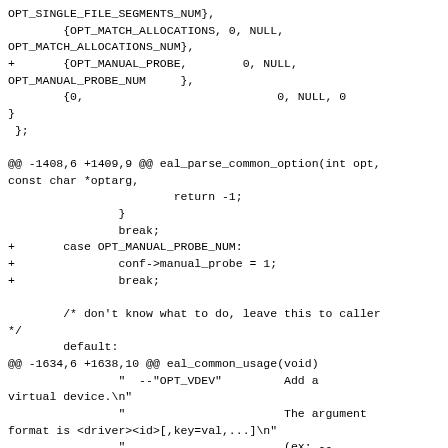OPT_SINGLE_FILE_SEGMENTS_NUM},
        {OPT_MATCH_ALLOCATIONS, 0, NULL,
OPT_MATCH_ALLOCATIONS_NUM},
+       {OPT_MANUAL_PROBE,        0, NULL,
OPT_MANUAL_PROBE_NUM     },
        {0,                            0, NULL, 0
}
 };

@@ -1408,6 +1409,9 @@ eal_parse_common_option(int opt,
const char *optarg,
                        return -1;
                }
                break;
+       case OPT_MANUAL_PROBE_NUM:
+               conf->manual_probe = 1;
+               break;

        /* don't know what to do, leave this to caller
*/
        default:
@@ -1634,6 +1638,10 @@ eal_common_usage(void)
                "  --"OPT_VDEV"         Add a
virtual device.\n"
                "                       The argument
format is <driver><id>[,key=val,...]\n"
                "                       (ex: --
vdev=net_pcap0,iface=eth2).\n"
+               "  --"OPT_MANUAL_PROBE"    Enable
manual probing.\n"
+               "